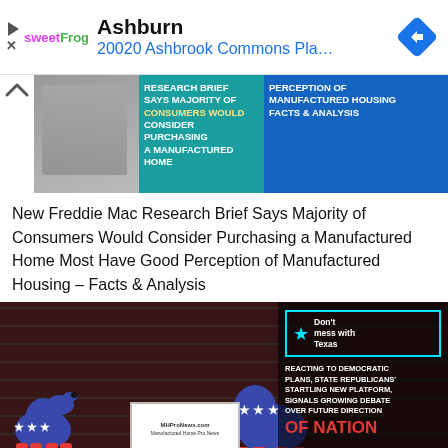[Figure (screenshot): Ad bar showing sweetFrog logo, Ashburn location, and 20020 Ashbrook Commons Pla... address with navigation diamond icon]
[Figure (screenshot): Banner image for article: RESEARCH BRIEF SAYS MAJORITY OF CONSUMERS WOULD CONSIDER PURCHASING A MANUFACTURED HOME / PERCEPTION OF MANUFACTURED HOUSING FACTS & ANALYSIS]
New Freddie Mac Research Brief Says Majority of Consumers Would Consider Purchasing a Manufactured Home Most Have Good Perception of Manufactured Housing – Facts & Analysis
[Figure (photo): Political image showing Democrat donkey and Republican elephant figurines in front of an American flag, with 'Don't mess with Texas' neon sign and text: REACTING TO DEMOCRATIC PLANS, STATE REPUBLICANS' STARTLING NEW PLATFORM, SIGNALS GROWING DEBATE OVER FUTURE DIRECTION OF NATION]
Impact on Manufactured Home Residents.